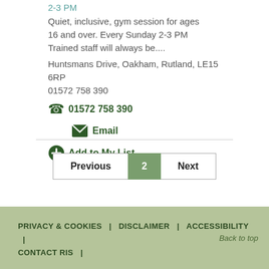2-3 PM
Quiet, inclusive, gym session for ages 16 and over. Every Sunday 2-3 PM Trained staff will always be....
Huntsmans Drive, Oakham, Rutland, LE15 6RP
01572 758 390
01572 758 390
Email
Add to My List
Previous  2  Next
PRIVACY & COOKIES | DISCLAIMER | ACCESSIBILITY | CONTACT RIS |